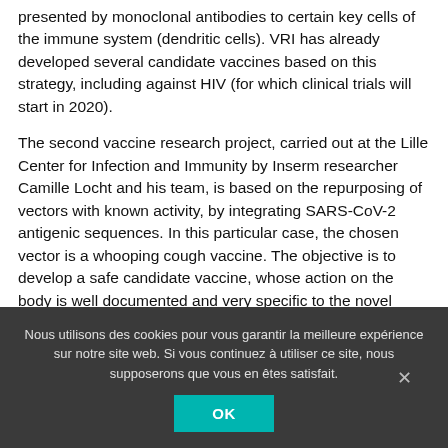presented by monoclonal antibodies to certain key cells of the immune system (dendritic cells). VRI has already developed several candidate vaccines based on this strategy, including against HIV (for which clinical trials will start in 2020).
The second vaccine research project, carried out at the Lille Center for Infection and Immunity by Inserm researcher Camille Locht and his team, is based on the repurposing of vectors with known activity, by integrating SARS-CoV-2 antigenic sequences. In this particular case, the chosen vector is a whooping cough vaccine. The objective is to develop a safe candidate vaccine, whose action on the body is well documented and very specific to the novel coronavirus because it incorporates carefully selected antigens.
Nous utilisons des cookies pour vous garantir la meilleure expérience sur notre site web. Si vous continuez à utiliser ce site, nous supposerons que vous en êtes satisfait.